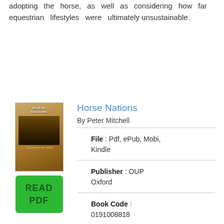adopting the horse, as well as considering how far equestrian lifestyles were ultimately unsustainable.
Horse Nations
By Peter Mitchell
File : Pdf, ePub, Mobi, Kindle
Publisher : OUP Oxford
Book Code : 0191008818
Total of Pages : 496
Category : History